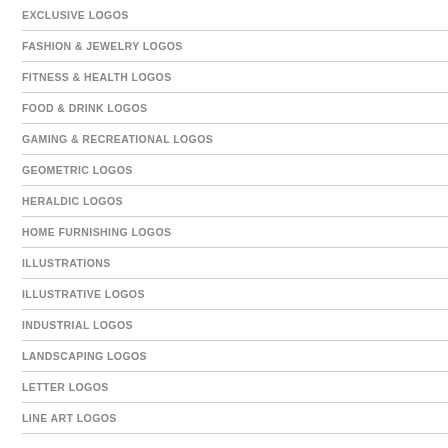EXCLUSIVE LOGOS
FASHION & JEWELRY LOGOS
FITNESS & HEALTH LOGOS
FOOD & DRINK LOGOS
GAMING & RECREATIONAL LOGOS
GEOMETRIC LOGOS
HERALDIC LOGOS
HOME FURNISHING LOGOS
ILLUSTRATIONS
ILLUSTRATIVE LOGOS
INDUSTRIAL LOGOS
LANDSCAPING LOGOS
LETTER LOGOS
LINE ART LOGOS